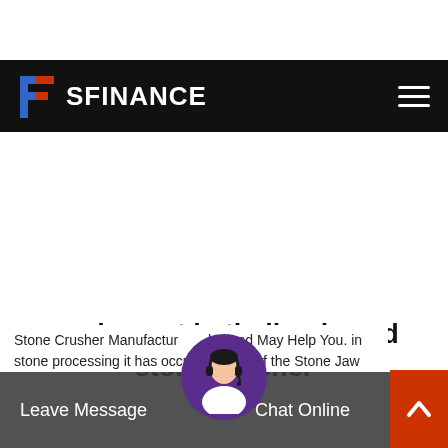SFINANCE
equipment in thailand used stone crusher
Stone Crusher Manufacturer in thailand May Help You. in stone processing it has occupied most of the Stone Jaw
Leave Message  Chat Online